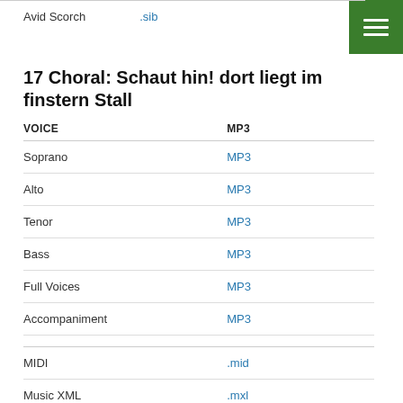Avid Scorch   .sib
17 Choral: Schaut hin! dort liegt im finstern Stall
| VOICE | MP3 |
| --- | --- |
| Soprano | MP3 |
| Alto | MP3 |
| Tenor | MP3 |
| Bass | MP3 |
| Full Voices | MP3 |
| Accompaniment | MP3 |
| MIDI | .mid |
| Music XML | .mxl |